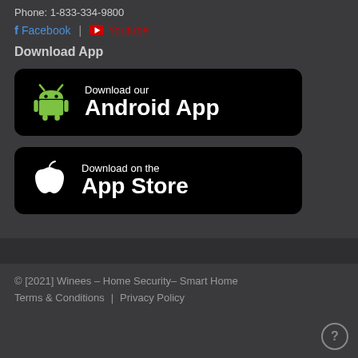Phone: 1-833-334-9800
Facebook | Youtube
Download App
[Figure (illustration): Black rounded rectangle button with green Android robot icon and white text: 'Download our Android App']
[Figure (illustration): Black rounded rectangle button with white Apple logo and white text: 'Download on the App Store']
© [2021] Winees – Home Security– Smart Home  Terms & Conditions  |  Privacy Policy